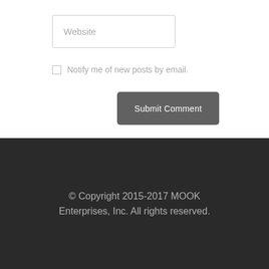Website
Notify me of new posts by email.
Submit Comment
© Copyright 2015-2017 MOOK Enterprises, Inc. All rights reserved.